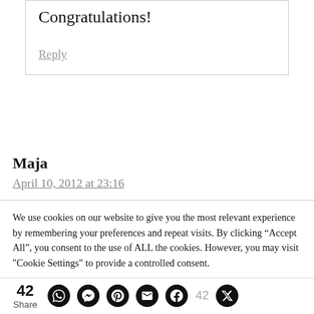Congratulations!
Reply
Maja
April 10, 2012 at 23:16
We use cookies on our website to give you the most relevant experience by remembering your preferences and repeat visits. By clicking “Accept All”, you consent to the use of ALL the cookies. However, you may visit "Cookie Settings" to provide a controlled consent.
42 Share